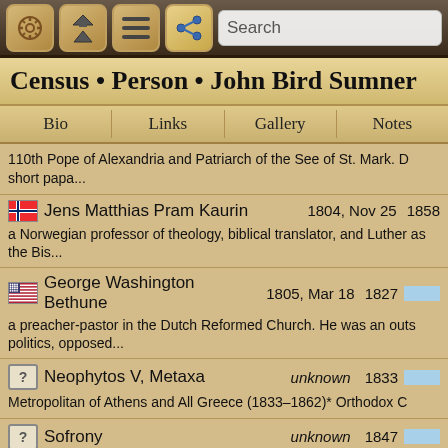Census • Person • John Bird Sumner
110th Pope of Alexandria and Patriarch of the See of St. Mark. D short papa...
Jens Matthias Pram Kaurin   1804, Nov 25  1858
a Norwegian professor of theology, biblical translator, and Luthe... as the Bis...
George Washington Bethune   1805, Mar 18  1827
a preacher-pastor in the Dutch Reformed Church. He was an outs... politics, opposed...
Neophytos V, Metaxa   unknown  1833
Metropolitan of Athens and All Greece (1833–1862)* Orthodox C
Sofrony   unknown  1847
Archbishop of Moscow (1847–1863)* Old Believers
Friedrich Conrad Dietrich Wyneken   1810, May 13  1850